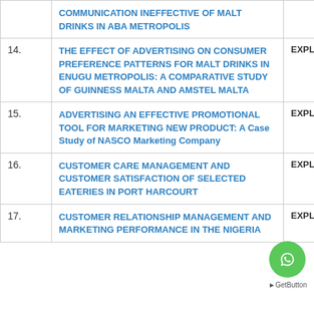| # | Title | Action |
| --- | --- | --- |
|  | COMMUNICATION INEFFECTIVE OF MALT DRINKS IN ABA METROPOLIS |  |
| 14. | THE EFFECT OF ADVERTISING ON CONSUMER PREFERENCE PATTERNS FOR MALT DRINKS IN ENUGU METROPOLIS: A COMPARATIVE STUDY OF GUINNESS MALTA AND AMSTEL MALTA | EXPLORE |
| 15. | ADVERTISING AN EFFECTIVE PROMOTIONAL TOOL FOR MARKETING NEW PRODUCT: A Case Study of NASCO Marketing Company | EXPLORE |
| 16. | CUSTOMER CARE MANAGEMENT AND CUSTOMER SATISFACTION OF SELECTED EATERIES IN PORT HARCOURT | EXPLORE |
| 17. | CUSTOMER RELATIONSHIP MANAGEMENT AND MARKETING PERFORMANCE IN THE NIGERIA | EXPLORE |